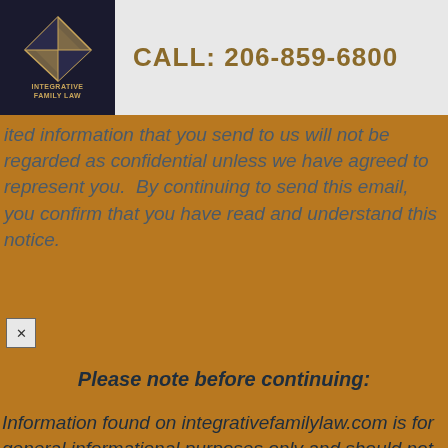[Figure (logo): Integrative Family Law logo with diamond geometric shape on dark navy background with gold text]
CALL: 206-859-6800
ited information that you send to us will not be regarded as confidential unless we have agreed to represent you.  By continuing to send this email, you confirm that you have read and understand this notice.
Please note before continuing:
Information found on integrativefamilylaw.com is for general informational purposes only and should not be construed as legal advice, nor a solicitation of legal...